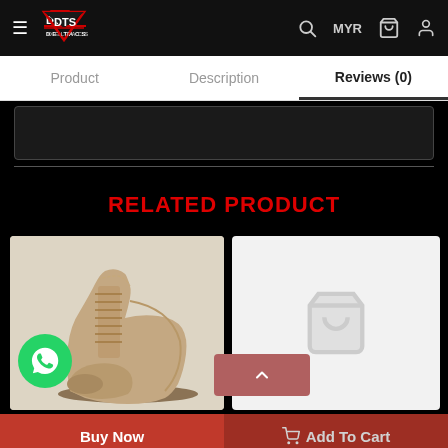DTS DELTACS — MYR navigation bar with hamburger menu, search, cart, and user icons
Product | Description | Reviews (0)
RELATED PRODUCT
[Figure (photo): Tan/coyote tactical boot product photo on light beige/cream background]
[Figure (other): Empty product card placeholder with grey shopping cart icon]
Buy Now
Add To Cart